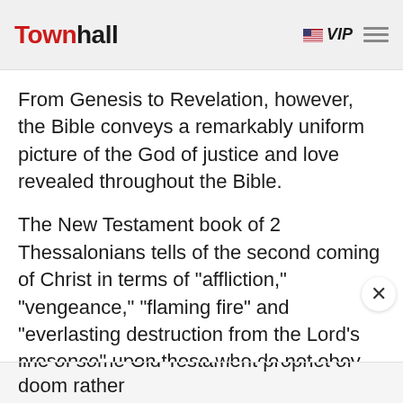Townhall
From Genesis to Revelation, however, the Bible conveys a remarkably uniform picture of the God of justice and love revealed throughout the Bible.
The New Testament book of 2 Thessalonians tells of the second coming of Christ in terms of "affliction," "vengeance," "flaming fire" and "everlasting destruction from the Lord's presence" upon those who do not obey the Gospel (1:6-10).
According to a popular contrast of Old Testament
line of some Old Testament prophet of doom rather